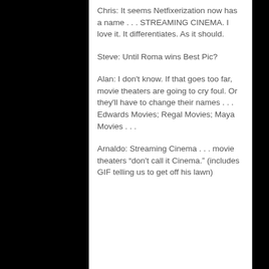Chris: It seems Netfixerization now has a name . . . STREAMING CINEMA. I love it. It differentiates. As it should.
Steve: Until Roma wins Best Pic?
Alan: I don't know. If that goes too far, movie theaters are going to cry foul. Or they'll have to change their names . . . Edwards Movies; Regal Movies; Maya Movies . . .
Arnaldo: Streaming Cinema . . . movie theaters “don't call it Cinema.” (includes GIF telling us to get off his lawn)